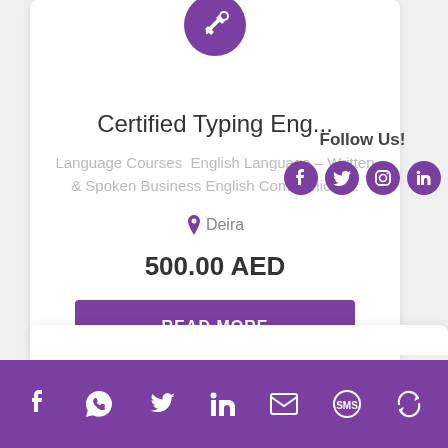[Figure (logo): Purple circle with white wrench/tool icon at top of card]
Certified Typing Eng...
Language Courses  English Language – Written & Spoken Business English Communicati...
📍 Deira
500.00 AED
READ MORE
27/02/2021
Follow Us!
[Figure (infographic): Social media icons: Facebook, Twitter, Instagram, LinkedIn]
[Figure (infographic): Footer purple bar with social icons: Facebook, WhatsApp, Twitter, LinkedIn, Email, SMS, Refresh/other]